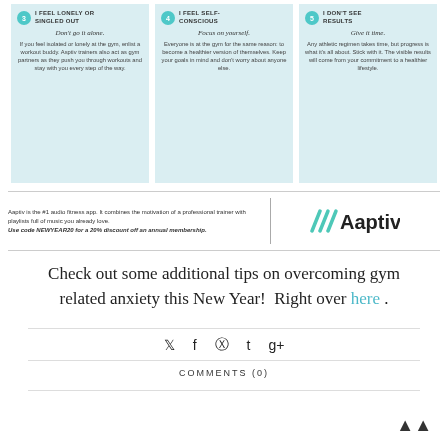[Figure (infographic): Three tips cards with teal circles numbered 3, 4, 5 on light blue backgrounds. Card 3: I Feel Lonely or Singled Out - Don't go it alone. Card 4: I Feel Self-Conscious - Focus on yourself. Card 5: I Don't See Results - Give it time.]
[Figure (infographic): Aaptiv banner with text about the #1 audio fitness app and discount code NEWYEAR20 for 20% off annual membership, with Aaptiv logo on the right.]
Check out some additional tips on overcoming gym related anxiety this New Year!  Right over here .
COMMENTS (0)